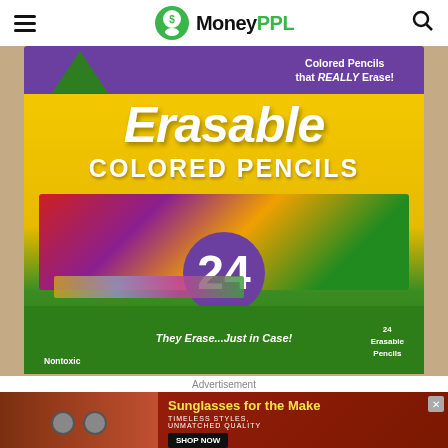MoneyPPL
[Figure (photo): Crayola Erasable Colored Pencils box (24 count) showing green and yellow box with purple banner reading 'Colored Pencils that REALLY Erase!', large white text 'Erasable COLORED PENCILS', colorful pencil artwork, number 24 in purple circle, and tagline 'They Erase...Just in Case!']
Advertisement
[Figure (photo): Advertisement banner for sunglasses featuring two women wearing sunglasses with text 'Sunglasses for the Make', 'TIMELESS STYLES, UNMATCHED QUALITY' and a 'SHOP NOW' button]